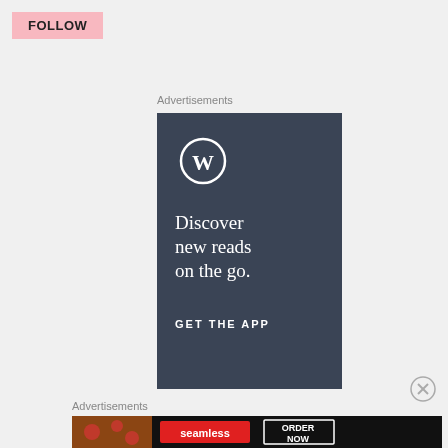FOLLOW
Advertisements
[Figure (illustration): WordPress advertisement with dark navy background showing the WordPress 'W' circular logo, headline 'Discover new reads on the go.' and call-to-action 'GET THE APP']
[Figure (illustration): Close/dismiss button (X in circle) for advertisement]
Advertisements
[Figure (illustration): Seamless food delivery advertisement showing pizza image on left, red Seamless logo in center, and 'ORDER NOW' button on right, all on dark background]